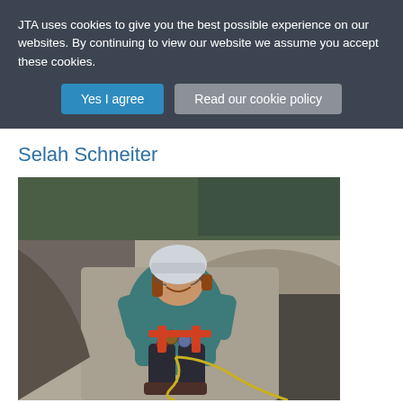JTA uses cookies to give you the best possible experience on our websites. By continuing to view our website we assume you accept these cookies.
Yes I agree | Read our cookie policy
Selah Schneiter
[Figure (photo): A young girl wearing a white climbing helmet and teal jacket, smiling at the camera while rock climbing on a granite face, with climbing gear and ropes visible, trees and rock face in the background]